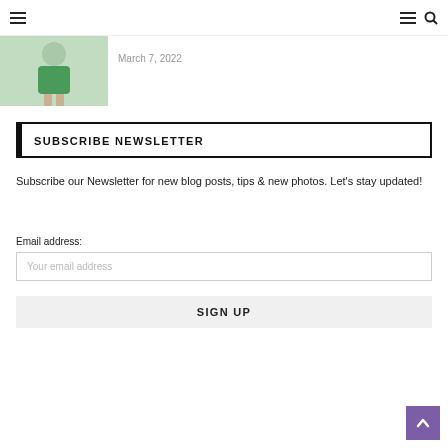≡  ≡ 🔍
[Figure (photo): Thumbnail image of a person in a green outfit against a light background]
March 7, 2022
SUBSCRIBE NEWSLETTER
Subscribe our Newsletter for new blog posts, tips & new photos. Let's stay updated!
Email address:
Your email address
SIGN UP